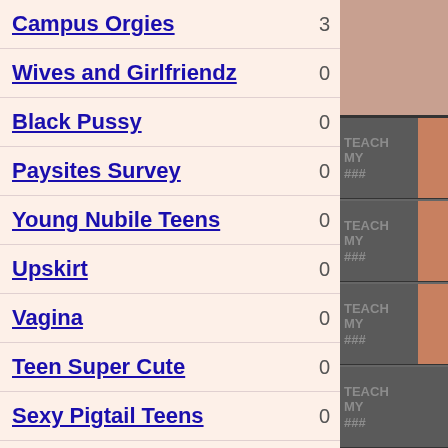Campus Orgies 3
Wives and Girlfriendz 0
Black Pussy 0
Paysites Survey 0
Young Nubile Teens 0
Upskirt 0
Vagina 0
Teen Super Cute 0
Sexy Pigtail Teens 0
Rear End Anal 0
Pussy 0
Petite Young Babes 0
[Figure (photo): Right column showing repeated 'Teach My' branded thumbnail images on dark gray background]